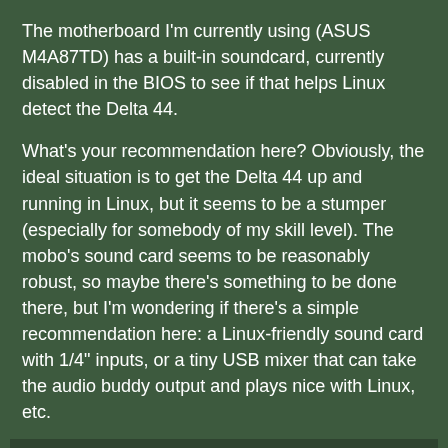The motherboard I'm currently using (ASUS M4A87TD) has a built-in soundcard, currently disabled in the BIOS to see if that helps Linux detect the Delta 44.
What's your recommendation here? Obviously, the ideal situation is to get the Delta 44 up and running in Linux, but it seems to be a stumper (especially for somebody of my skill level). The mobo's sound card seems to be reasonably robust, so maybe there's something to be done there, but I'm wondering if there's a simple recommendation here: a Linux-friendly sound card with 1/4" inputs, or a tiny USB mixer that can take the audio buddy output and plays nice with Linux, etc.
posted by Shepherd to Computers & Internet (8 answers total)
Is the problem driver install? I did a quick google and seems like some one got it to work on Ubuntu, perhaps you'd like